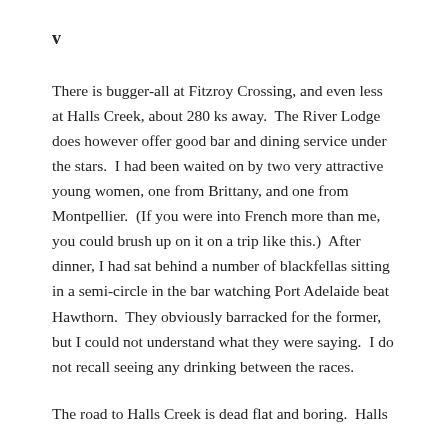v
There is bugger-all at Fitzroy Crossing, and even less at Halls Creek, about 280 ks away.  The River Lodge does however offer good bar and dining service under the stars.  I had been waited on by two very attractive young women, one from Brittany, and one from Montpellier.  (If you were into French more than me, you could brush up on it on a trip like this.)  After dinner, I had sat behind a number of blackfellas sitting in a semi-circle in the bar watching Port Adelaide beat Hawthorn.  They obviously barracked for the former, but I could not understand what they were saying.  I do not recall seeing any drinking between the races.
The road to Halls Creek is dead flat and boring.  Halls